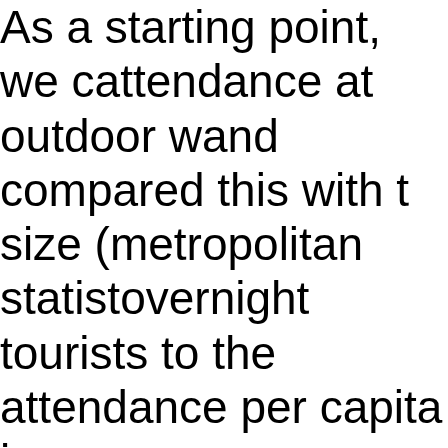As a starting point, we considered attendance at outdoor w... and compared this with the size (metropolitan statist... overnight tourists to the ... attendance per capita in...
We selected six markets... Houston, San Antonio/Ne... as each has two-plus la... found that the aggregate... in each market ranged fr... more than 7.2 million (O...